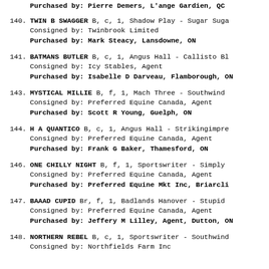Purchased by: Pierre Demers, L'ange Gardien, QC
140. TWIN B SWAGGER B, c, 1, Shadow Play - Sugar Suga
Consigned by: Twinbrook Limited
Purchased by: Mark Steacy, Lansdowne, ON
141. BATMANS BUTLER B, c, 1, Angus Hall - Callisto Bl
Consigned by: Icy Stables, Agent
Purchased by: Isabelle D Darveau, Flamborough, ON
143. MYSTICAL MILLIE B, f, 1, Mach Three - Southwind
Consigned by: Preferred Equine Canada, Agent
Purchased by: Scott R Young, Guelph, ON
144. H A QUANTICO B, c, 1, Angus Hall - Strikingimpre
Consigned by: Preferred Equine Canada, Agent
Purchased by: Frank G Baker, Thamesford, ON
146. ONE CHILLY NIGHT B, f, 1, Sportswriter - Simply
Consigned by: Preferred Equine Canada, Agent
Purchased by: Preferred Equine Mkt Inc, Briarcli
147. BAAAD CUPID Br, f, 1, Badlands Hanover - Stupid
Consigned by: Preferred Equine Canada, Agent
Purchased by: Jeffery M Lilley, Agent, Dutton, ON
148. NORTHERN REBEL B, c, 1, Sportswriter - Southwind
Consigned by: Northfields Farm Inc